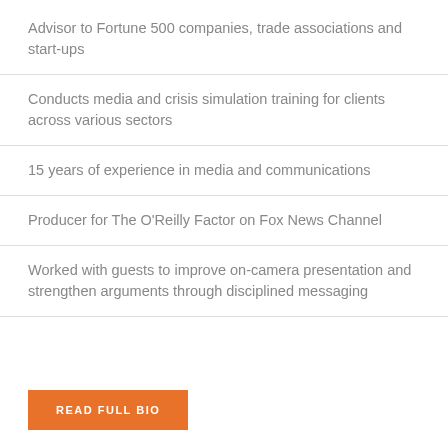Advisor to Fortune 500 companies, trade associations and start-ups
Conducts media and crisis simulation training for clients across various sectors
15 years of experience in media and communications
Producer for The O'Reilly Factor on Fox News Channel
Worked with guests to improve on-camera presentation and strengthen arguments through disciplined messaging
READ FULL BIO